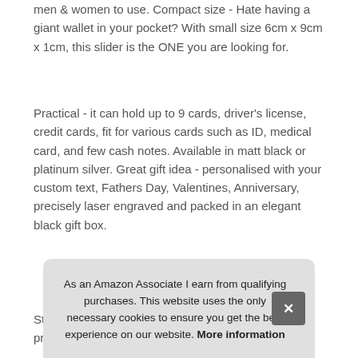men & women to use. Compact size - Hate having a giant wallet in your pocket? With small size 6cm x 9cm x 1cm, this slider is the ONE you are looking for.
Practical - it can hold up to 9 cards, driver's license, credit cards, fit for various cards such as ID, medical card, and few cash notes. Available in matt black or platinum silver. Great gift idea - personalised with your custom text, Fathers Day, Valentines, Anniversary, precisely laser engraved and packed in an elegant black gift box.
More information
Stylish - with a minimalist slim metal design and premium finis...
As an Amazon Associate I earn from qualifying purchases. This website uses the only necessary cookies to ensure you get the best experience on our website. More information